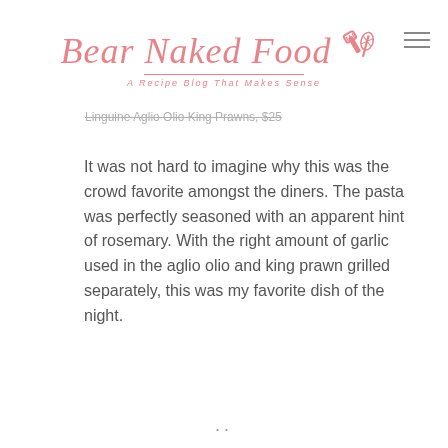Bear Naked Food — A Recipe Blog That Makes Sense
Linguine Aglio Olio King Prawns, $25
It was not hard to imagine why this was the crowd favorite amongst the diners. The pasta was perfectly seasoned with an apparent hint of rosemary. With the right amount of garlic used in the aglio olio and king prawn grilled separately, this was my favorite dish of the night.